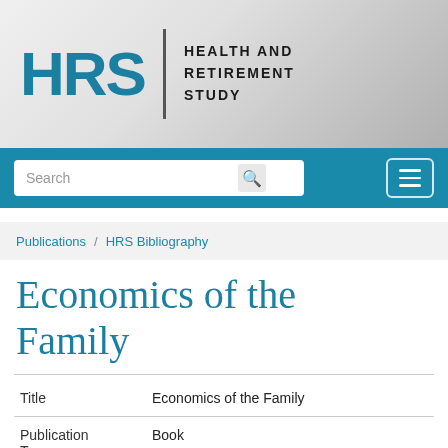[Figure (logo): HRS Health and Retirement Study logo with teal HRS letters and subtitle text]
Search
Publications / HRS Bibliography
Economics of the Family
| Title | Economics of the Family |
| Publication Type | Book |